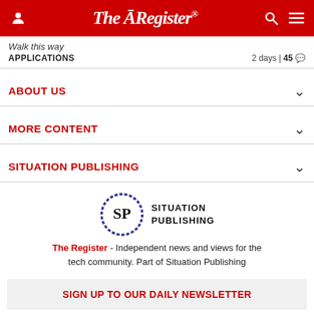The Register®
Walk this way
APPLICATIONS  2 days | 45
ABOUT US
MORE CONTENT
SITUATION PUBLISHING
[Figure (logo): Situation Publishing logo — circular SP emblem with colorful border and text 'SITUATION PUBLISHING' to the right]
The Register - Independent news and views for the tech community. Part of Situation Publishing
SIGN UP TO OUR DAILY NEWSLETTER